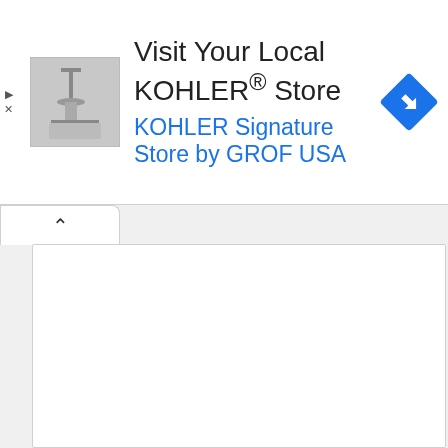[Figure (screenshot): Advertisement banner for KOHLER store with a product thumbnail image on the left, text in the center, and a blue navigation/map icon on the right. Below the banner is a tab UI with a chevron-up button and a white content panel.]
Visit Your Local KOHLER® Store
KOHLER Signature Store by GROF USA